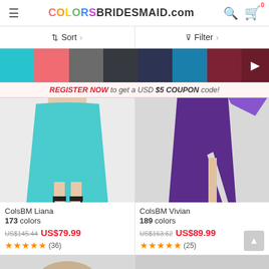COLORSBRIDESMAID.com
Sort  Filter
[Figure (other): Color swatches row: turquoise, coral/pink, gray, dark charcoal, navy, teal, dark red/maroon, and arrow button]
REGISTER NOW to get a USD $5 COUPON code!
[Figure (photo): Turquoise/cyan knee-length bridesmaid dress on model, showing skirt and legs with black heels]
[Figure (photo): Purple full-length bridesmaid dress on model with side slit, showing skirt and legs]
ColsBM Liana
173 colors
US$145.44 US$79.99
★★★★★ (36)
ColsBM Vivian
189 colors
US$163.62 US$89.99
★★★★★ (25)